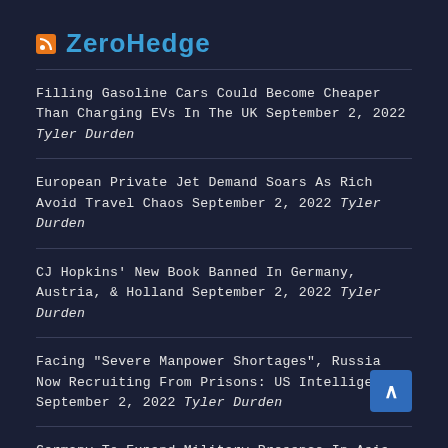ZeroHedge
Filling Gasoline Cars Could Become Cheaper Than Charging EVs In The UK September 2, 2022 Tyler Durden
European Private Jet Demand Soars As Rich Avoid Travel Chaos September 2, 2022 Tyler Durden
CJ Hopkins' New Book Banned In Germany, Austria, & Holland September 2, 2022 Tyler Durden
Facing "Severe Manpower Shortages", Russia Now Recruiting From Prisons: US Intelligence September 2, 2022 Tyler Durden
Germany To Expand Military Presence In Asia Pacific